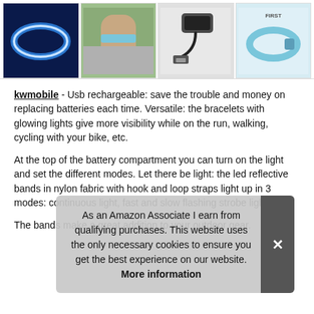[Figure (photo): Four product thumbnail images in a row: 1) Blue glowing LED armband on dark background, 2) Person wearing light blue armband on arm outdoors, 3) Armband with USB charging cable on white background, 4) Light blue LED armband product shot on white background with text 'FIRST']
kwmobile - Usb rechargeable: save the trouble and money on replacing batteries each time. Versatile: the bracelets with glowing lights give more visibility while on the run, walking, cycling with your bike, etc.
At the top of the battery compartment you can turn on the light and set the different modes. Let there be light: the led reflective bands in nylon fabric with hook and loop straps light up in 3 modes: continuous light, fast and slow flashing strobe light
As an Amazon Associate I earn from qualifying purchases. This website uses the only necessary cookies to ensure you get the best experience on our website. More information
The bands make a great addition to your outdoor gear.